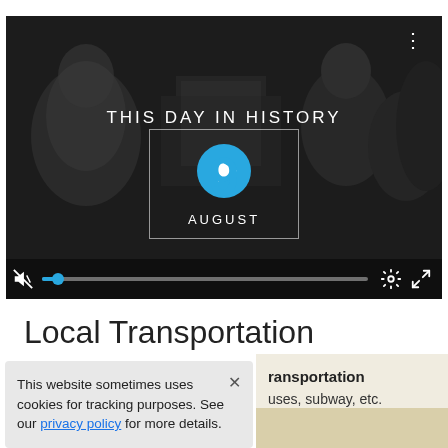[Figure (screenshot): Video player showing 'This Day in History' with date August 9 in a blue circle with play button overlay, controls bar at bottom with mute, progress bar, settings and fullscreen icons, three-dot menu top right.]
Local Transportation
This website sometimes uses cookies for tracking purposes. See our privacy policy for more details.
ransportationuses, subway, etc.